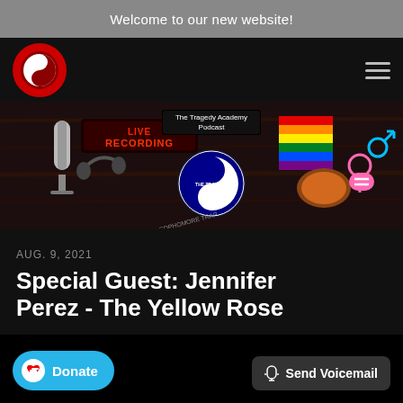Welcome to our new website!
[Figure (logo): Circular logo with yin-yang style design in red and white for The Tragedy Academy podcast]
[Figure (photo): Podcast banner image showing a microphone, headphones, LIVE RECORDING neon sign, The Tragedy Academy Podcast badge/logo, and a pride flag with gender equality symbols]
AUG. 9, 2021
Special Guest: Jennifer Perez - The Yellow Rose